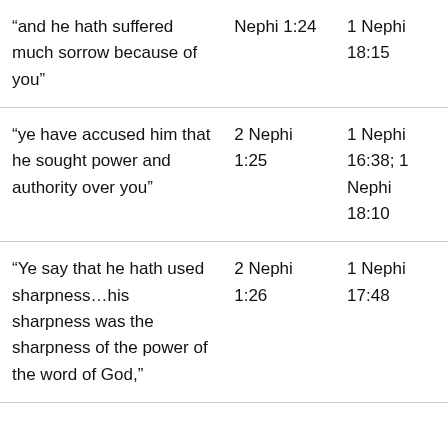| “and he hath suffered much sorrow because of you” | Nephi 1:24 | 1 Nephi 18:15 |
| “ye have accused him that he sought power and authority over you” | 2 Nephi 1:25 | 1 Nephi 16:38; 1 Nephi 18:10 |
| “Ye say that he hath used sharpness…his sharpness was the sharpness of the power of the word of God,” | 2 Nephi 1:26 | 1 Nephi 17:48 |